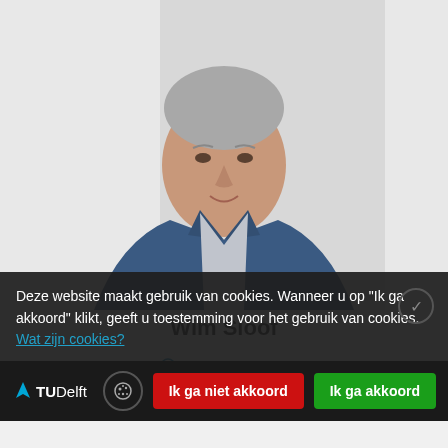[Figure (photo): Professional headshot of Wim Sloof, an older man with grey hair wearing a blue blazer and light patterned shirt, against a light background]
Wim Sloof
Deze website maakt gebruik van cookies. Wanneer u op "Ik ga akkoord" klikt, geeft u toestemming voor het gebruik van cookies. Wat zijn cookies?
Ik ga niet akkoord
Ik ga akkoord
Summary